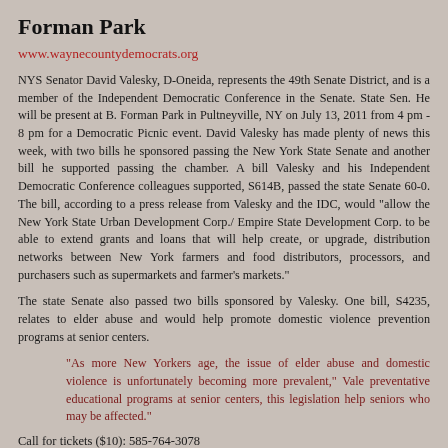Forman Park
www.waynecountydemocrats.org
NYS Senator David Valesky, D-Oneida, represents the 49th Senate District, and is a member of the Independent Democratic Conference in the Senate. State Sen. He will be present at B. Forman Park in Pultneyville, NY on July 13, 2011 from 4 pm - 8 pm for a Democratic Picnic event. David Valesky has made plenty of news this week, with two bills he sponsored passing the New York State Senate and another bill he supported passing the chamber. A bill Valesky and his Independent Democratic Conference colleagues supported, S614B, passed the state Senate 60-0. The bill, according to a press release from Valesky and the IDC, would "allow the New York State Urban Development Corp./ Empire State Development Corp. to be able to extend grants and loans that will help create, or upgrade, distribution networks between New York farmers and food distributors, processors, and purchasers such as supermarkets and farmer's markets."
The state Senate also passed two bills sponsored by Valesky. One bill, S4235, relates to elder abuse and would help promote domestic violence prevention programs at senior centers.
"As more New Yorkers age, the issue of elder abuse and domestic violence is unfortunately becoming more prevalent," Vale preventative educational programs at senior centers, this legislation help seniors who may be affected."
Call for tickets ($10): 585-764-3078